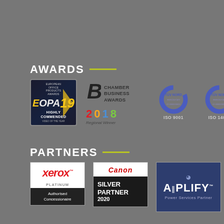AWARDS
[Figure (logo): EOPA 2019 Highly Commended badge]
[Figure (logo): Chamber Business Awards 2018 Regional Winner]
[Figure (logo): TUV NORD ISO 9001 certification badge]
[Figure (logo): TUV NORD ISO 14001 certification badge]
PARTNERS
[Figure (logo): Xerox Platinum Authorised Concessionaire badge]
[Figure (logo): Canon Silver Partner 2020 badge]
[Figure (logo): HP Amplify Power Services Partner badge]